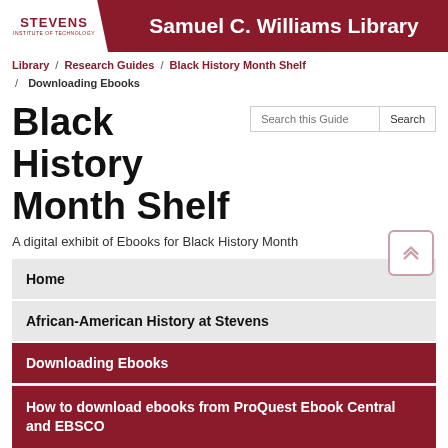STEVENS Institute of Technology | Samuel C. Williams Library
Library / Research Guides / Black History Month Shelf / Downloading Ebooks
Black History Month Shelf
A digital exhibit of Ebooks for Black History Month
Home
African-American History at Stevens
Downloading Ebooks
Black Lives Matter: Anti-Racism Guide Home
How to download ebooks from ProQuest Ebook Central and EBSCO